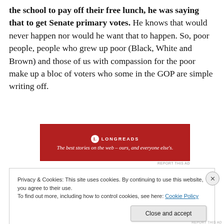the school to pay off their free lunch, he was saying that to get Senate primary votes. He knows that would never happen nor would he want that to happen. So, poor people, people who grew up poor (Black, White and Brown) and those of us with compassion for the poor make up a bloc of voters who some in the GOP are simple writing off.
[Figure (other): Longreads advertisement banner: red background with logo and tagline 'The best stories on the web – ours, and everyone else's.']
Privacy & Cookies: This site uses cookies. By continuing to use this website, you agree to their use. To find out more, including how to control cookies, see here: Cookie Policy